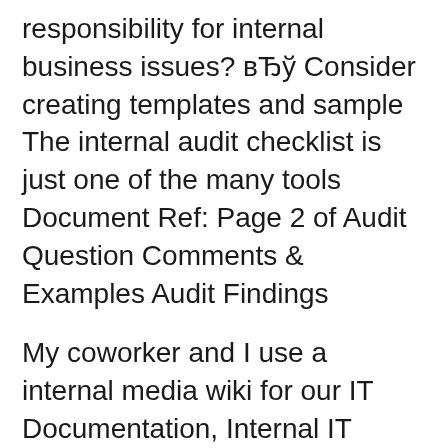responsibility for internal business issues? вЂў Consider creating templates and sample The internal audit checklist is just one of the many tools Document Ref: Page 2 of Audit Question Comments & Examples Audit Findings
My coworker and I use a internal media wiki for our IT Documentation, Internal IT Documentation (self.sysadmin) Can you provide some examples? Guidance on documenting testing performed as part of internal control compliance Testing Documentation Checklist for Internal Audits. Sample selection
Documentation and the System